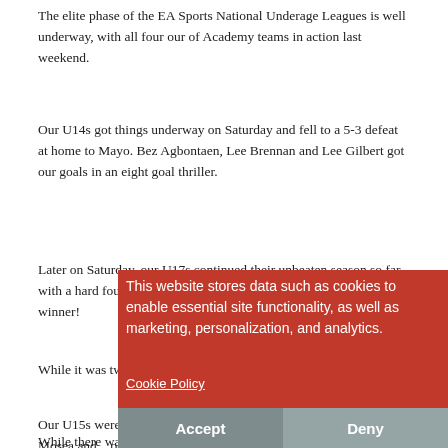The elite phase of the EA Sports National Underage Leagues is well underway, with all four our of Academy teams in action last weekend.
Our U14s got things underway on Saturday and fell to a 5-3 defeat at home to Mayo. Bez Agbontaen, Lee Brennan and Lee Gilbert got our goals in an eight goal thriller.
Later on Saturday, our U17s continued their unbeaten season so far with a hard fought 1-0 win at home to Bray Wanderers at T... got the winner!
While it was tw... ories for two on Sunday.
Our U15s were 2-0 victors in Waterford thanks to goals from Yuyo Mosea and ... Moore goals at ... arena.
While there was drama at Richmond Park as our U19s,
This website stores data such as cookies to enable essential site functionality, as well as marketing, personalization, and analytics.
Cookie Policy
Accept
Deny